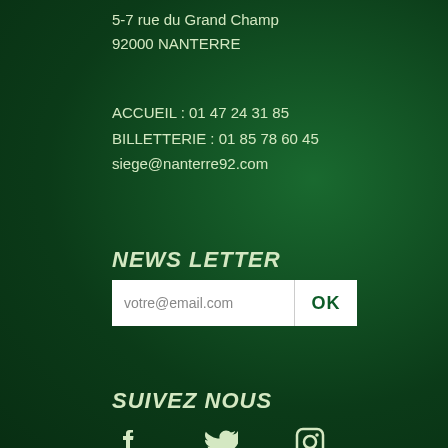5-7 rue du Grand Champ
92000 NANTERRE
ACCUEIL : 01 47 24 31 85
BILLETTERIE : 01 85 78 60 45
siege@nanterre92.com
NEWS LETTER
votre@email.com
SUIVEZ NOUS
[Figure (illustration): Social media icons: Facebook, Twitter, Instagram]